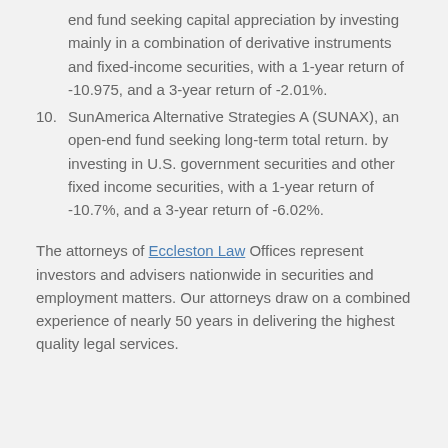end fund seeking capital appreciation by investing mainly in a combination of derivative instruments and fixed-income securities, with a 1-year return of -10.975, and a 3-year return of -2.01%.
10. SunAmerica Alternative Strategies A (SUNAX), an open-end fund seeking long-term total return. by investing in U.S. government securities and other fixed income securities, with a 1-year return of -10.7%, and a 3-year return of -6.02%.
The attorneys of Eccleston Law Offices represent investors and advisers nationwide in securities and employment matters. Our attorneys draw on a combined experience of nearly 50 years in delivering the highest quality legal services.